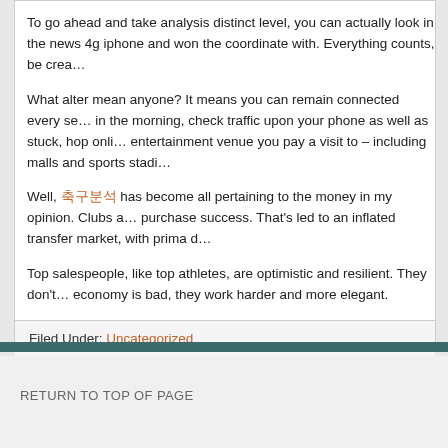To go ahead and take analysis distinct level, you can actually look in the news 4g iphone and won the coordinate with. Everything counts, be crea…
What alter mean anyone? It means you can remain connected every se… in the morning, check traffic upon your phone as well as stuck, hop onli… entertainment venue you pay a visit to – including malls and sports stadi…
Well, 축구분석 has become all pertaining to the money in my opinion. Clubs a… purchase success. That's led to an inflated transfer market, with prima d…
Top salespeople, like top athletes, are optimistic and resilient. They don't… economy is bad, they work harder and more elegant.
Filed Under: Uncategorized
RETURN TO TOP OF PAGE